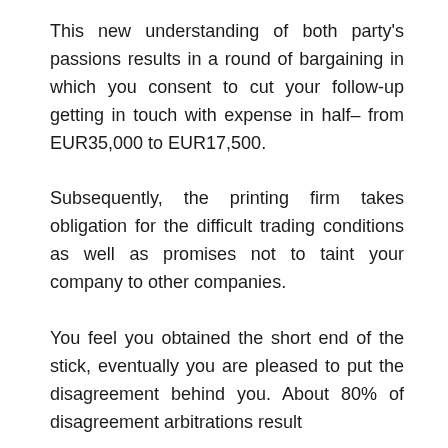This new understanding of both party's passions results in a round of bargaining in which you consent to cut your follow-up getting in touch with expense in half– from EUR35,000 to EUR17,500.
Subsequently, the printing firm takes obligation for the difficult trading conditions as well as promises not to taint your company to other companies.
You feel you obtained the short end of the stick, eventually you are pleased to put the disagreement behind you. About 80% of disagreement arbitrations result